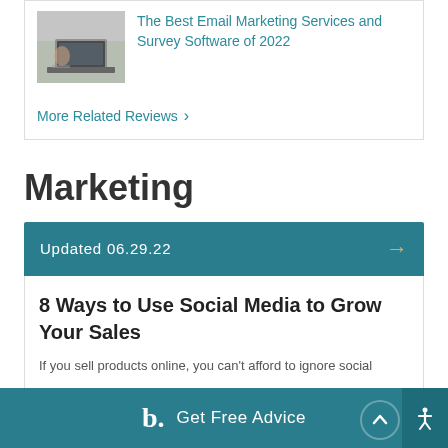[Figure (photo): Photo of person typing on laptop at a desk, used as thumbnail for email marketing article]
The Best Email Marketing Services and Survey Software of 2022
More Related Reviews >
Marketing
Updated 06.29.22
8 Ways to Use Social Media to Grow Your Sales
If you sell products online, you can't afford to ignore social
b.  Get Free Advice